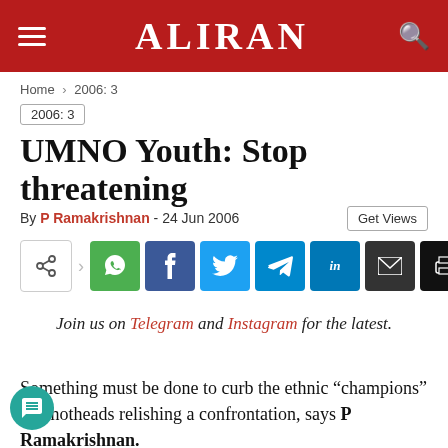ALIRAN
Home > 2006: 3
2006: 3
UMNO Youth: Stop threatening
By P Ramakrishnan - 24 Jun 2006
[Figure (infographic): Social share buttons row: share, WhatsApp, Facebook, Twitter, Telegram, LinkedIn, Email, Print]
Join us on Telegram and Instagram for the latest.
Something must be done to curb the ethnic "champions" and hotheads relishing a confrontation, says P Ramakrishnan.